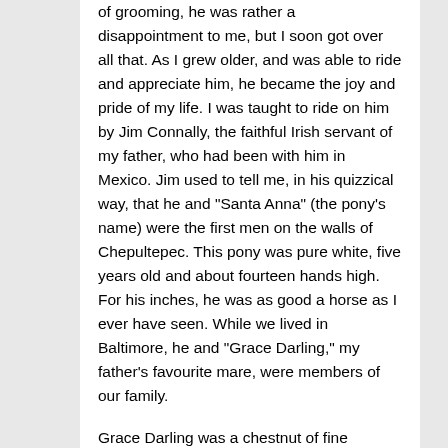of grooming, he was rather a disappointment to me, but I soon got over all that. As I grew older, and was able to ride and appreciate him, he became the joy and pride of my life. I was taught to ride on him by Jim Connally, the faithful Irish servant of my father, who had been with him in Mexico. Jim used to tell me, in his quizzical way, that he and "Santa Anna" (the pony's name) were the first men on the walls of Chepultepec. This pony was pure white, five years old and about fourteen hands high. For his inches, he was as good a horse as I ever have seen. While we lived in Baltimore, he and "Grace Darling," my father's favourite mare, were members of our family.
Grace Darling was a chestnut of fine